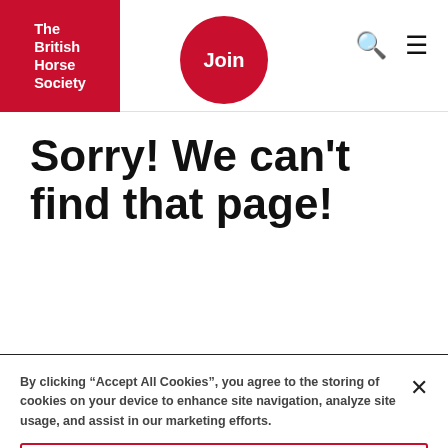[Figure (logo): The British Horse Society logo — white text on red square background]
Join | Search | Menu navigation header
Sorry! We can't find that page!
By clicking “Accept All Cookies”, you agree to the storing of cookies on your device to enhance site navigation, analyze site usage, and assist in our marketing efforts.
Cookies Settings
Reject All